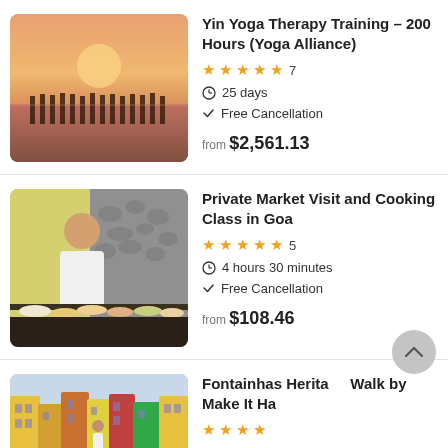[Figure (photo): Group of people in white doing yoga on a beach at sunset]
Yin Yoga Therapy Training - 200 Hours (Yoga Alliance)
★★★★★ 7 | 25 days | Free Cancellation | from $2,561.13
[Figure (photo): Woman in white standing behind a spread of Indian food dishes in a kitchen]
Private Market Visit and Cooking Class in Goa
★★★★★ 5 | 4 hours 30 minutes | Free Cancellation | from $108.46
[Figure (photo): Colorful heritage buildings on a narrow street in Fontainhas, Goa]
Fontainhas Heritage Walk by Make It Happen